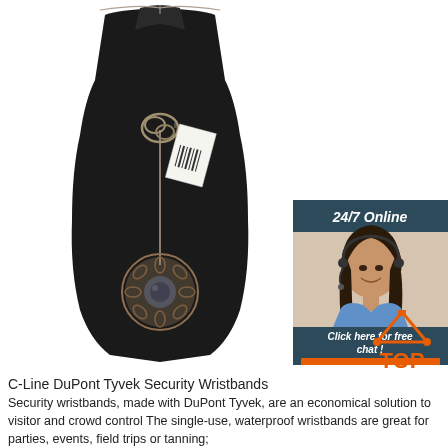[Figure (photo): A decorative necklace displayed on a black velvet bust stand. The necklace has a long chain with an ornate knotted connector and a large circular pendant with a dark gemstone center surrounded by intricate metalwork.]
[Figure (photo): Side panel showing a smiling woman with dark hair wearing a headset, representing a 24/7 online customer service representative. She is wearing a blue shirt and appears against a light background.]
24/7 Online
Click here for free chat !
QUOTATION
[Figure (logo): TOP logo with orange triangle/arrow pointing upward and orange dots, with the word TOP in orange text below]
C-Line DuPont Tyvek Security Wristbands
Security wristbands, made with DuPont Tyvek, are an economical solution to visitor and crowd control The single-use, waterproof wristbands are great for parties, events, field trips or tanning;